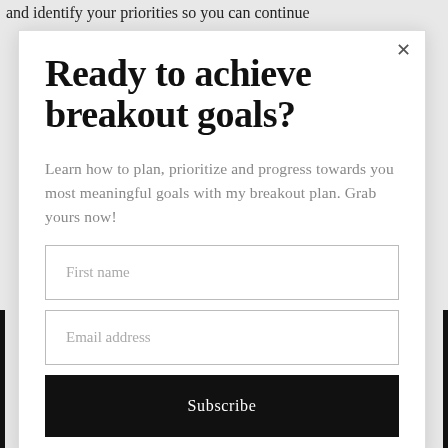and identify your priorities so you can continue
Ready to achieve breakout goals?
Learn how to plan, prioritize and progress towards you most meaningful goals with my breakout plan. Grab yours now!
First name
Email address
Subscribe